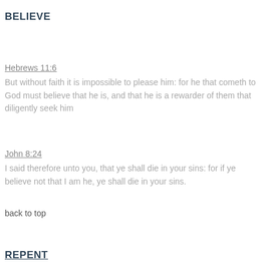BELIEVE
Hebrews 11:6
But without faith it is impossible to please him: for he that cometh to God must believe that he is, and that he is a rewarder of them that diligently seek him
John 8:24
I said therefore unto you, that ye shall die in your sins: for if ye believe not that I am he, ye shall die in your sins.
back to top
REPENT